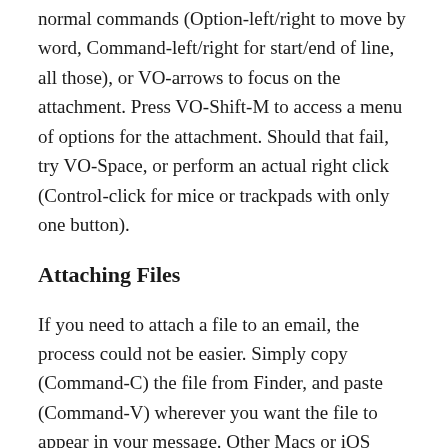normal commands (Option-left/right to move by word, Command-left/right for start/end of line, all those), or VO-arrows to focus on the attachment. Press VO-Shift-M to access a menu of options for the attachment. Should that fail, try VO-Space, or perform an actual right click (Control-click for mice or trackpads with only one button).
Attaching Files
If you need to attach a file to an email, the process could not be easier. Simply copy (Command-C) the file from Finder, and paste (Command-V) wherever you want the file to appear in your message. Other Macs or iOS devices will show the attached file where you pasted it, whereas most Windows email clients will simply show the file attached to your message, but not